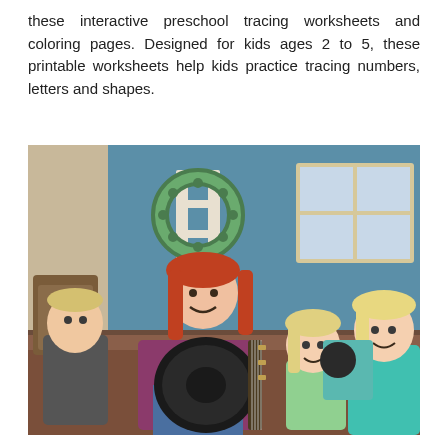these interactive preschool tracing worksheets and coloring pages. Designed for kids ages 2 to 5, these printable worksheets help kids practice tracing numbers, letters and shapes.
[Figure (photo): A woman with red hair sits on a brown couch playing a black acoustic guitar, smiling at the camera. A young boy with blonde hair sits to her left, and two blonde girls sit to her right. The background shows a blue wall with a decorative ladder holding a wreath, and a white window frame on the right.]